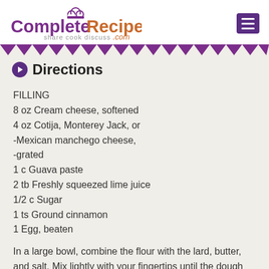[Figure (logo): CompleteRecipes.com logo with chef hat icon and tagline 'share cook discuss']
Directions
FILLING
8 oz Cream cheese, softened
4 oz Cotija, Monterey Jack, or -Mexican manchego cheese, -grated
1 c Guava paste
2 tb Freshly squeezed lime juice
1/2 c Sugar
1 ts Ground cinnamon
1 Egg, beaten
In a large bowl, combine the flour with the lard, butter, and salt. Mix lightly with your fingertips until the dough forms grape sized pieces. You